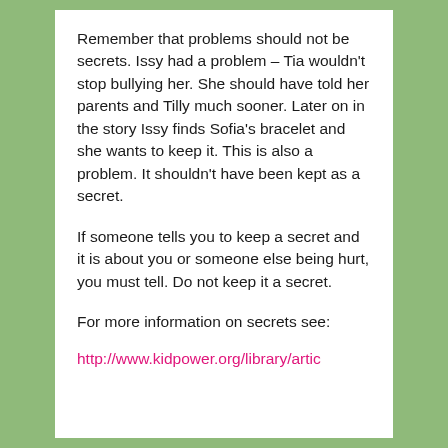Remember that problems should not be secrets. Issy had a problem – Tia wouldn't stop bullying her. She should have told her parents and Tilly much sooner. Later on in the story Issy finds Sofia's bracelet and she wants to keep it. This is also a problem. It shouldn't have been kept as a secret.
If someone tells you to keep a secret and it is about you or someone else being hurt, you must tell. Do not keep it a secret.
For more information on secrets see:
http://www.kidpower.org/library/artic